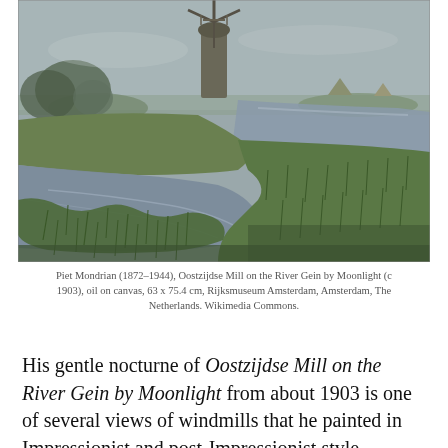[Figure (illustration): Oil painting by Piet Mondrian: Oostzijdse Mill on the River Gein by Moonlight (c 1903). A windmill stands prominently in the background under a grey-blue sky. In the foreground, a curved path of water or ditch reflects the light, surrounded by green reeds and grass. A canal stretches into the distance to the right. The palette is muted greens, greys, and blues with an Impressionist handling.]
Piet Mondrian (1872–1944), Oostzijdse Mill on the River Gein by Moonlight (c 1903), oil on canvas, 63 x 75.4 cm, Rijksmuseum Amsterdam, Amsterdam, The Netherlands. Wikimedia Commons.
His gentle nocturne of Oostzijdse Mill on the River Gein by Moonlight from about 1903 is one of several views of windmills that he painted in Impressionist and post-Impressionist style.